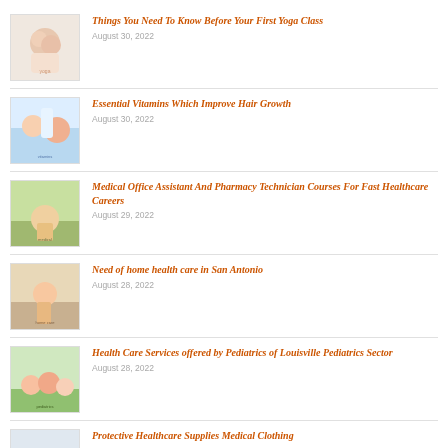Things You Need To Know Before Your First Yoga Class
August 30, 2022
Essential Vitamins Which Improve Hair Growth
August 30, 2022
Medical Office Assistant And Pharmacy Technician Courses For Fast Healthcare Careers
August 29, 2022
Need of home health care in San Antonio
August 28, 2022
Health Care Services offered by Pediatrics of Louisville Pediatrics Sector
August 28, 2022
Protective Healthcare Supplies Medical Clothing
August 26, 2022